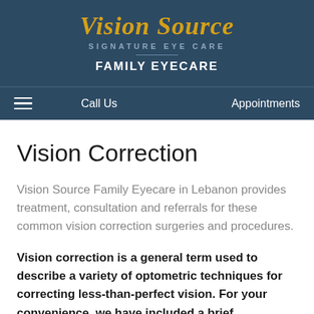[Figure (logo): Vision Source Signature Eye Care logo with yellow script text and grey subtitle on dark blue background]
FAMILY EYECARE
Call Us   Appointments
Vision Correction
Vision Source Family Eyecare in Lebanon provides treatment, consultation and referrals for these common vision correction surgeries and procedures.
Vision correction is a general term used to describe a variety of optometric techniques for correcting less-than-perfect vision. For your convenience, we have included a brief description of some of the most common vision